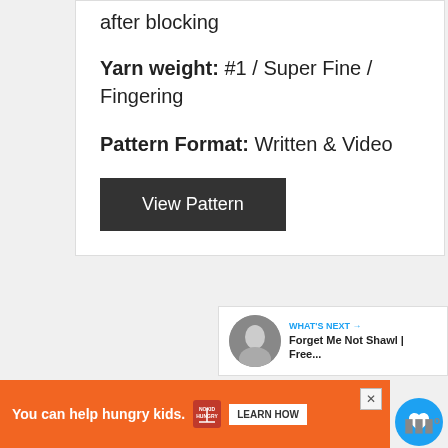after blocking
Yarn weight: #1 / Super Fine / Fingering
Pattern Format: Written & Video
View Pattern
156
WHAT'S NEXT → Forget Me Not Shawl | Free...
You can help hungry kids.  NOKID HUNGRY  LEARN HOW